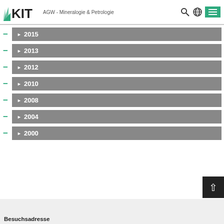KIT — AGW - Mineralogie & Petrologie
▶ 2015
▶ 2013
▶ 2012
▶ 2010
▶ 2008
▶ 2004
▶ 2000
Besuchsadresse